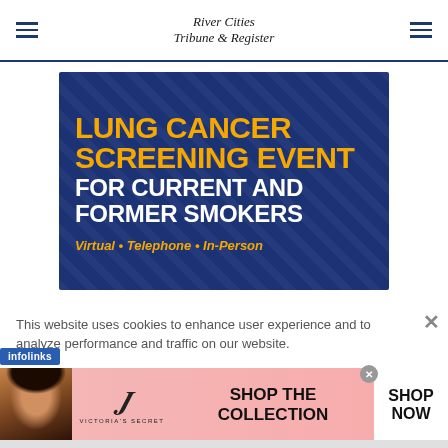River Cities Tribune & Register
[Figure (infographic): Lung Cancer Screening Event advertisement on dark blue background with gold and white text. Text reads: LUNG CANCER SCREENING EVENT FOR CURRENT AND FORMER SMOKERS. Virtual • Telephone • In-Person]
This website uses cookies to enhance user experience and to analyze performance and traffic on our website.
[Figure (infographic): Victoria's Secret advertisement with pink background, model photo, VS logo, text SHOP THE COLLECTION and SHOP NOW button]